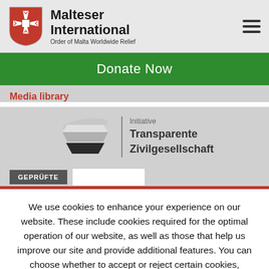[Figure (logo): Malteser International logo with red shield bearing white Maltese cross, organization name and tagline]
Donate Now
Media library
[Figure (logo): Initiative Transparente Zivilgesellschaft logo with layered diamond shapes in grey and black]
[Figure (screenshot): GEPRÜFTE button in dark grey with a white input field next to it]
We use cookies to enhance your experience on our website. These include cookies required for the optimal operation of our website, as well as those that help us improve our site and provide additional features. You can choose whether to accept or reject certain cookies,